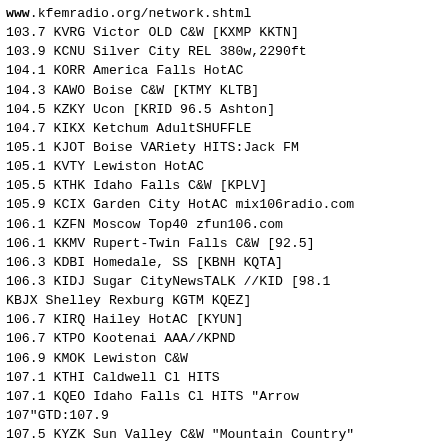www.kfemradio.org/network.shtml
103.7 KVRG Victor OLD C&W [KXMP KKTN]
103.9 KCNU Silver City REL 380w,2290ft
104.1 KORR America Falls HotAC
104.3 KAWO Boise C&W [KTMY KLTB]
104.5 KZKY Ucon [KRID 96.5 Ashton]
104.7 KIKX Ketchum AdultSHUFFLE
105.1 KJOT Boise VARiety HITS:Jack FM
105.1 KVTY Lewiston HotAC
105.5 KTHK Idaho Falls C&W [KPLV]
105.9 KCIX Garden City HotAC mix106radio.com
106.1 KZFN Moscow Top40 zfun106.com
106.1 KKMV Rupert-Twin Falls C&W [92.5]
106.3 KDBI Homedale, SS [KBNH KQTA]
106.3 KIDJ Sugar CityNewsTALK //KID [98.1 KBJX Shelley Rexburg KGTM KQEZ]
106.7 KIRQ Hailey HotAC [KYUN]
106.7 KTPO Kootenai AAA//KPND
106.9 KMOK Lewiston C&W
107.1 KTHI Caldwell Cl HITS
107.1 KQEO Idaho Falls Cl HITS "Arrow 107"GTD:107.9
107.5 KYZK Sun Valley C&W "Mountain Country"
107.9 KXLT Eagle AC
107.9 KAOX ID Shelley-Idaho Falls NewsTalk
//99.9 KUPY Sugar City newstalk1079.com/